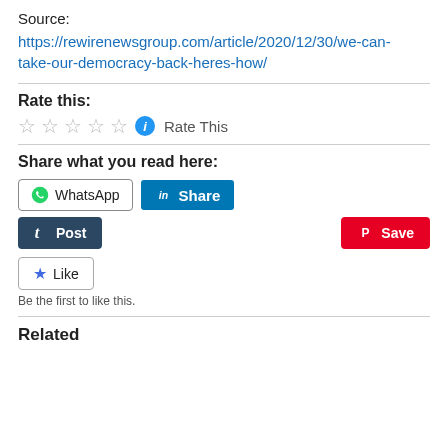Source:
https://rewirenewsgroup.com/article/2020/12/30/we-can-take-our-democracy-back-heres-how/
Rate this:
[Figure (other): Five empty star rating icons followed by a blue info circle icon and 'Rate This' text]
Share what you read here:
[Figure (other): Social share buttons: WhatsApp, LinkedIn Share, Tumblr Post, Pinterest Save, and a Like button with star]
Be the first to like this.
Related